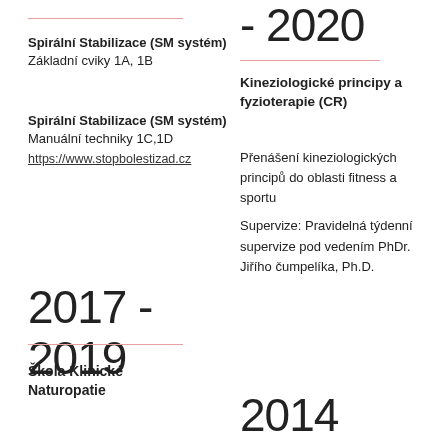- 2020
Spirální Stabilizace (SM systém) Základní cviky 1A, 1B
Spirální Stabilizace (SM systém) Manuální techniky 1C,1D
https://www.stopbolestizad.cz
Kineziologické principy a fyzioterapie (CR)
Přenášení kineziologických principů do oblasti fitness a sportu
Supervize: Pravidelná týdenní supervize pod vedením PhDr. Jiřího čumpelíka, Ph.D.
2017 - 2019
Škola Klinické Naturopatie
2014